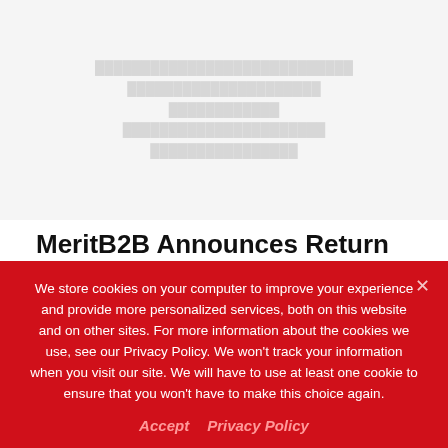[Figure (other): Blurred/faded background image area at top of page, light gray with indistinct text content]
MeritB2B Announces Return of Technology Marketing Exchange
Globe Newswire  •  Jul 16, 2021
MeritB2B, the leading provider of B2B data and performance marketing solutions, announced the return of their annual...
We store cookies on your computer to improve your experience and provide more personalized services, both on this website and on other sites. For more information about the cookies we use, see our Privacy Policy. We won't track your information when you visit our site. We will have to use at least one cookie to ensure that you won't have to make this choice again.
Accept   Privacy Policy